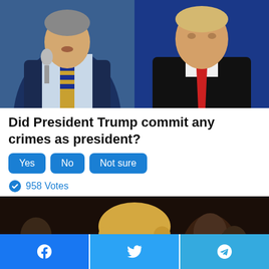[Figure (photo): Two side-by-side photos: left shows a man in a suit speaking into a microphone with a gold/blue tie; right shows a man in a dark suit with a red tie against a blue background]
Did President Trump commit any crimes as president?
Yes | No | Not sure (poll buttons)
958 Votes
[Figure (photo): A blonde woman with black-rimmed glasses speaking at what appears to be a press conference, with people visible in the background]
Facebook | Twitter | Telegram share buttons